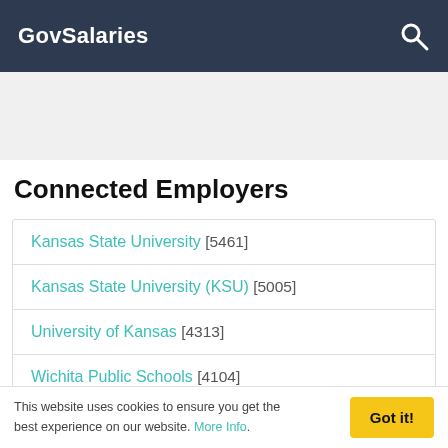GovSalaries
[Figure (other): Advertisement banner placeholder (gray background)]
Connected Employers
Kansas State University [5461]
Kansas State University (KSU) [5005]
University of Kansas [4313]
Wichita Public Schools [4104]
University of Kansas Medical Center (KUMC) - KS [4071]
This website uses cookies to ensure you get the best experience on our website. More Info.